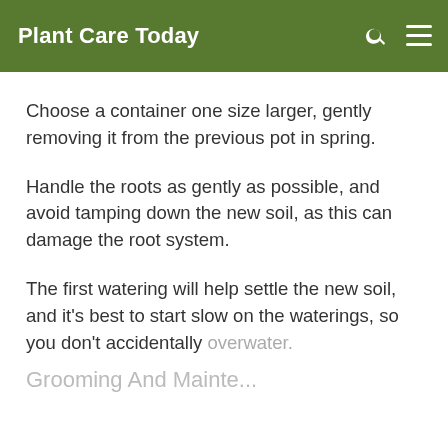Plant Care Today
Choose a container one size larger, gently removing it from the previous pot in spring.
Handle the roots as gently as possible, and avoid tamping down the new soil, as this can damage the root system.
The first watering will help settle the new soil, and it’s best to start slow on the waterings, so you don’t accidentally overwater.
Grooming And Mainte...